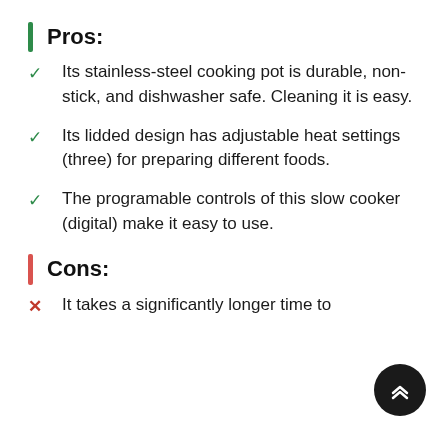Pros:
Its stainless-steel cooking pot is durable, non-stick, and dishwasher safe. Cleaning it is easy.
Its lidded design has adjustable heat settings (three) for preparing different foods.
The programable controls of this slow cooker (digital) make it easy to use.
Cons:
It takes a significantly longer time to